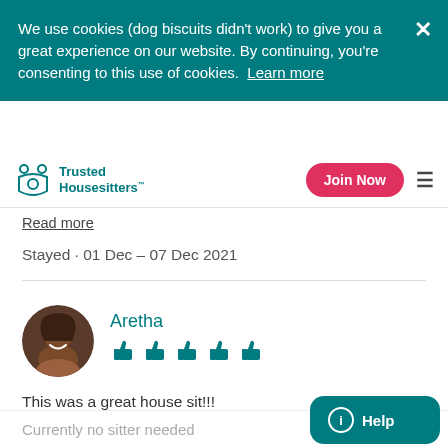We use cookies (dog biscuits didn't work) to give you a great experience on our website. By continuing, you're consenting to this use of cookies. Learn more
Trusted Housesitters™
Read more
Stayed · 01 Dec - 07 Dec 2021
Aretha
This was a great house sit!!!
Currently no sitter needed
Help